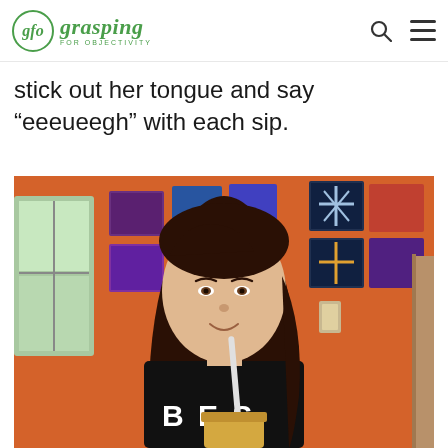gfo grasping FOR OBJECTIVITY
stick out her tongue and say “eeeueegh” with each sip.
[Figure (photo): A young teenage girl with long brown hair smiling at the camera, wearing a black t-shirt with 'BEST' printed on it, holding a drink with a straw. She is standing in a room with orange walls covered in colorful artwork/paintings, with a window visible on the left.]